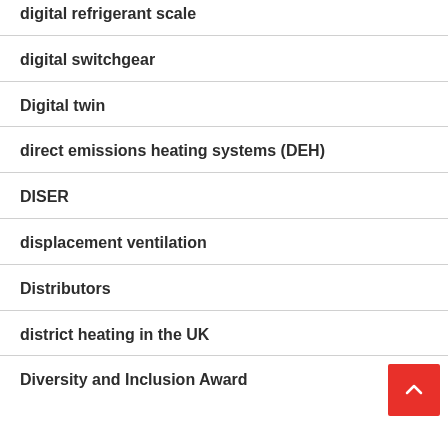digital refrigerant scale
digital switchgear
Digital twin
direct emissions heating systems (DEH)
DISER
displacement ventilation
Distributors
district heating in the UK
Diversity and Inclusion Award